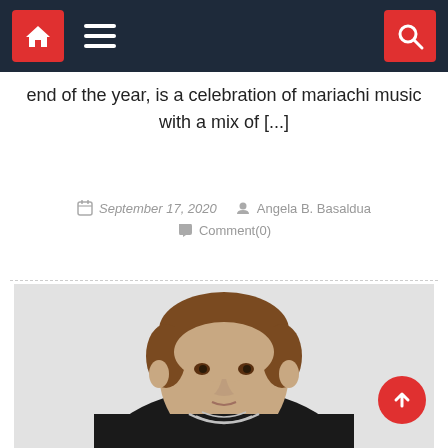Navigation bar with home, menu, and search icons
end of the year, is a celebration of mariachi music with a mix of [...]
September 17, 2020   Angela B. Basaldua   Comment(0)
[Figure (photo): Young man with brown hair wearing a black sweater and layered silver necklaces, photographed against a white background. Portrait-style photo, waist-up shot.]